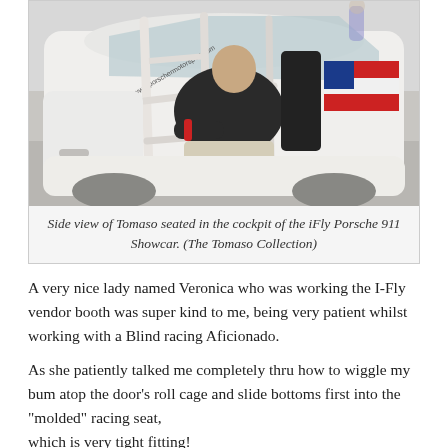[Figure (photo): Side view of a person (Tomaso) seated inside the cockpit of the iFly Porsche 911 Showcar. The car is white with a visible roll cage, and an American flag design is visible on the side. The website www.porschermotorsport.com is visible on the windshield. People visible in background.]
Side view of Tomaso seated in the cockpit of the iFly Porsche 911 Showcar. (The Tomaso Collection)
A very nice lady named Veronica who was working the I-Fly vendor booth was super kind to me, being very patient whilst working with a Blind racing Aficionado.
As she patiently talked me completely thru how to wiggle my bum atop the door's roll cage and slide bottoms first into the "molded" racing seat,
which is very tight fitting!